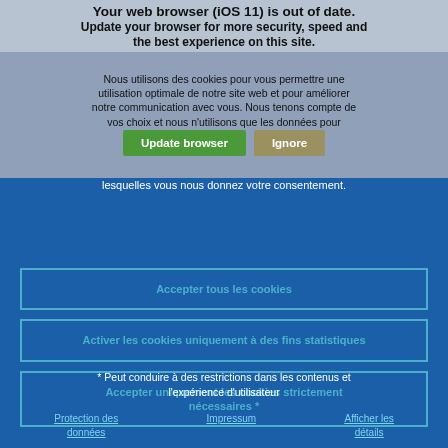Your web browser (iOS 11) is out of date. Update your browser for more security, speed and the best experience on this site.
Nous utilisons des cookies pour vous permettre une utilisation optimale de notre site web et pour améliorer notre communication avec vous. Nous tenons compte de vos choix et nous n'utilisons que les données pour lesquelles vous nous donnez votre consentement.
Accepter tous les cookies
Activer les cookies uniquement à des fins statistiques
Accepter uniquement les cookies strictement nécessaires *
* Peut conduire à des restrictions dans les contenus et l'expérience d'utilisateur
Protection des données · Impressum · Afficher les détails